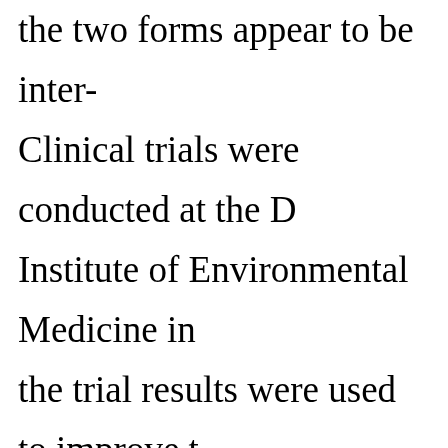the two forms appear to be inter- Clinical trials were conducted at the D Institute of Environmental Medicine in the trial results were used to improve t formula and determine frostbite thresh Standardization of the WCT Index am community provides an accurate and c ensure public safety. The new wind ch used in Canada and the United States.